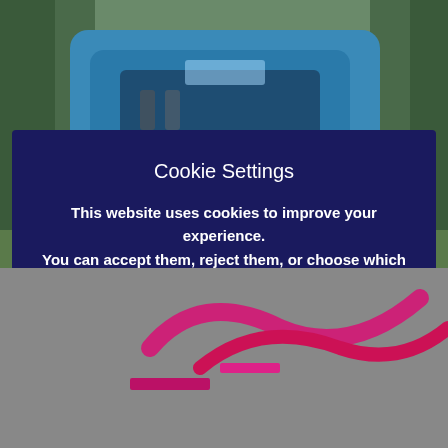[Figure (photo): Blue hydrogen train passing through green forest, front view]
[Figure (screenshot): Cookie settings modal overlay with dark navy background, three buttons: Reject, Cookie settings, ACCEPT]
NFK EDITORS - JULY 1, 2018
[Figure (photo): Partial view of pink/red logo or signage at bottom of page]